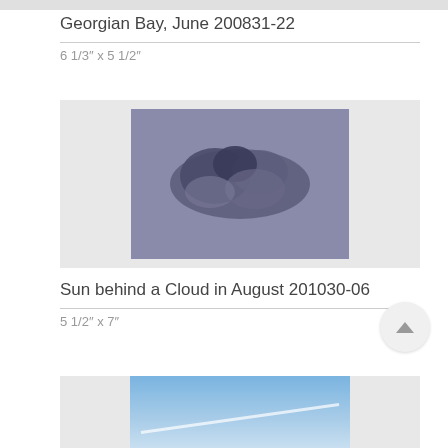Georgian Bay, June 200831-22
6 1/3″ x 5 1/2″
[Figure (photo): Dark cloud formation against a grey sky, resembling a dark massing cloud shape viewed from below.]
Sun behind a Cloud in August 201030-06
5 1/2″ x 7″
[Figure (photo): Blue sky with a faint white contrail/line visible, partially cropped at the bottom of the page.]